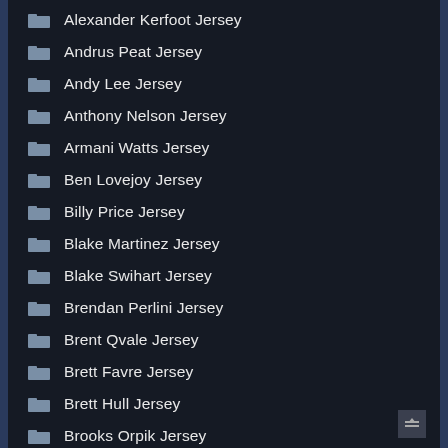Alexander Kerfoot Jersey
Andrus Peat Jersey
Andy Lee Jersey
Anthony Nelson Jersey
Armani Watts Jersey
Ben Lovejoy Jersey
Billy Price Jersey
Blake Martinez Jersey
Blake Swihart Jersey
Brendan Perlini Jersey
Brent Qvale Jersey
Brett Favre Jersey
Brett Hull Jersey
Brooks Orpik Jersey
C.J. Miles Jersey